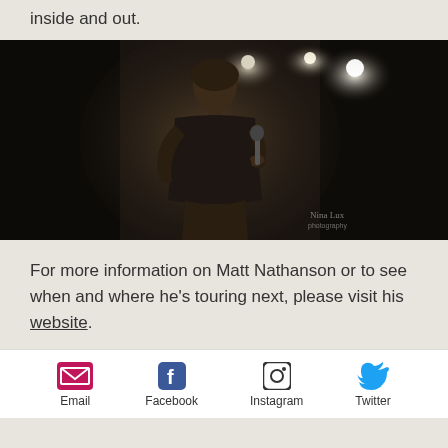inside and out.
[Figure (photo): Black and white/sepia concert photo of a male singer on stage holding a microphone, with stage lights in the background. Photo credit: Nina Lux Photography.]
For more information on Matt Nathanson or to see when and where he's touring next, please visit his website.
Email  Facebook  Instagram  Twitter